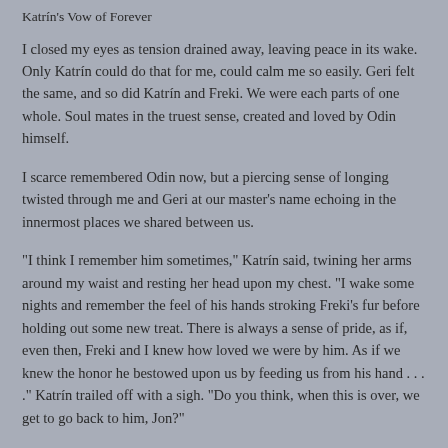Katrín's Vow of Forever
I closed my eyes as tension drained away, leaving peace in its wake. Only Katrín could do that for me, could calm me so easily. Geri felt the same, and so did Katrín and Freki. We were each parts of one whole. Soul mates in the truest sense, created and loved by Odin himself.
I scarce remembered Odin now, but a piercing sense of longing twisted through me and Geri at our master's name echoing in the innermost places we shared between us.
"I think I remember him sometimes," Katrín said, twining her arms around my waist and resting her head upon my chest. "I wake some nights and remember the feel of his hands stroking Freki's fur before holding out some new treat. There is always a sense of pride, as if, even then, Freki and I knew how loved we were by him. As if we knew the honor he bestowed upon us by feeding us from his hand . . . ." Katrín trailed off with a sigh. "Do you think, when this is over, we get to go back to him, Jon?"
"I don't know, fallegt." I tucked Katrín closer as Geri whined, the sound full of hope.